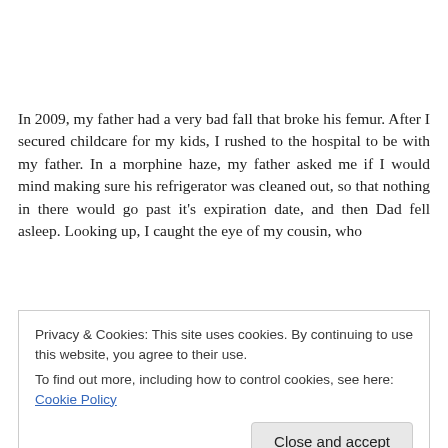In 2009, my father had a very bad fall that broke his femur. After I secured childcare for my kids, I rushed to the hospital to be with my father. In a morphine haze, my father asked me if I would mind making sure his refrigerator was cleaned out, so that nothing in there would go past it's expiration date, and then Dad fell asleep. Looking up, I caught the eye of my cousin, who
Privacy & Cookies: This site uses cookies. By continuing to use this website, you agree to their use.
To find out more, including how to control cookies, see here: Cookie Policy
or friends would lend a hand, taking donations to various